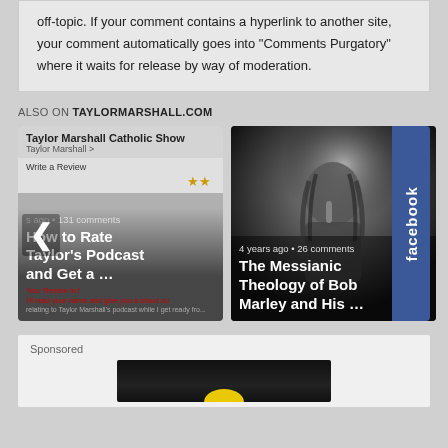off-topic. If your comment contains a hyperlink to another site, your comment automatically goes into "Comments Purgatory" where it waits for release by way of moderation.
ALSO ON TAYLORMARSHALL.COM
[Figure (screenshot): Card showing Taylor Marshall Catholic Show podcast app screenshot with 'How to Rate Taylor's Podcast and Get a ...' headline, chevron left arrow, 131 comments]
[Figure (photo): Black and white photo of Bob Marley singing with microphone, headline: 'The Messianic Theology of Bob Marley and His ...', 4 years ago, 26 comments]
Sponsored